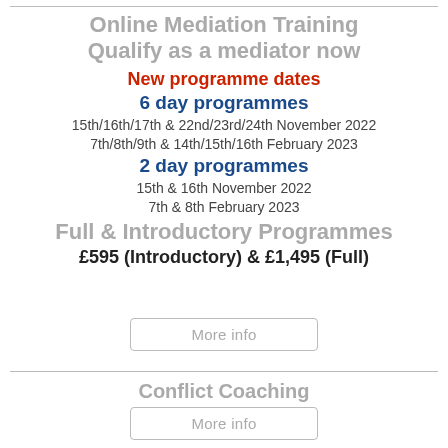Online Mediation Training
Qualify as a mediator now
New programme dates
6 day programmes
15th/16th/17th & 22nd/23rd/24th November 2022
7th/8th/9th & 14th/15th/16th February 2023
2 day programmes
15th & 16th November 2022
7th & 8th February 2023
Full & Introductory Programmes
£595 (Introductory)  & £1,495 (Full)
More info
Conflict Coaching
More info